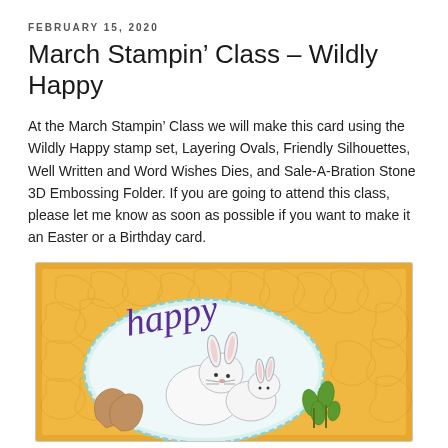FEBRUARY 15, 2020
March Stampin’ Class – Wildly Happy
At the March Stampin’ Class we will make this card using the Wildly Happy stamp set, Layering Ovals, Friendly Silhouettes, Well Written and Word Wishes Dies, and Sale-A-Bration Stone 3D Embossing Folder. If you are going to attend this class, please let me know as soon as possible if you want to make it an Easter or a Birthday card.
[Figure (photo): A handmade greeting card featuring a white bunny stamped in a scalloped oval on an orange embossed background, with purple die-cut 'Happy' script text above the bunny and green foliage elements.]